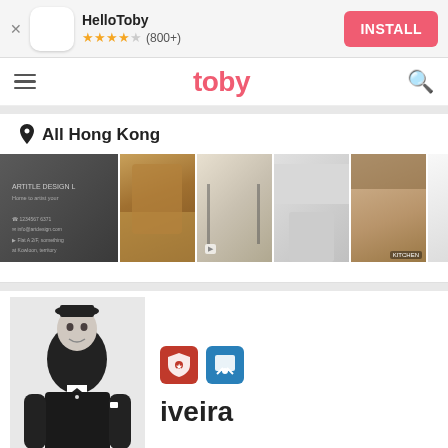[Figure (screenshot): App install banner showing HelloToby app with 4.5 star rating (800+) reviews and INSTALL button]
[Figure (screenshot): Toby website navigation bar with hamburger menu, toby logo in pink, and search icon]
All Hong Kong
[Figure (photo): Horizontal strip of interior design photos showing various rooms and design work]
[Figure (photo): Profile card showing a man in a tuxedo in black and white photo with badges and partial name 'iveira']